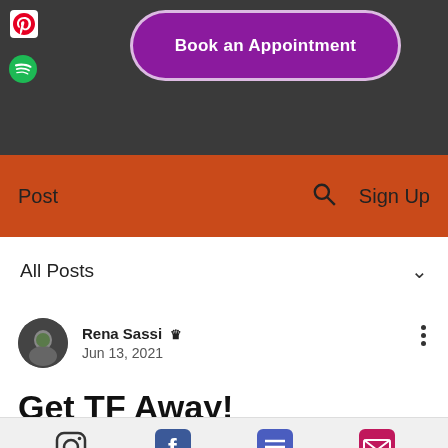[Figure (screenshot): Screenshot of a website header with dark background, Pinterest and Spotify social icons on the left, and a 'Book an Appointment' purple pill button in the center]
Book an Appointment
Post   🔍   Sign Up
All Posts
Rena Sassi 👑
Jun 13, 2021
Get TF Away!
[Figure (screenshot): Bottom social icon bar with Instagram, Facebook, list/content, and email icons]